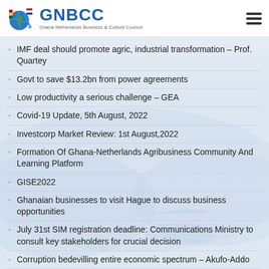GNBCC — Ghana Netherlands Business & Culture Council
IMF deal should promote agric, industrial transformation – Prof. Quartey
Govt to save $13.2bn from power agreements
Low productivity a serious challenge – GEA
Covid-19 Update, 5th August, 2022
Investcorp Market Review: 1st August,2022
Formation Of Ghana-Netherlands Agribusiness Community And Learning Platform
GISE2022
Ghanaian businesses to visit Hague to discuss business opportunities
July 31st SIM registration deadline: Communications Ministry to consult key stakeholders for crucial decision
Corruption bedevilling entire economic spectrum – Akufo-Addo